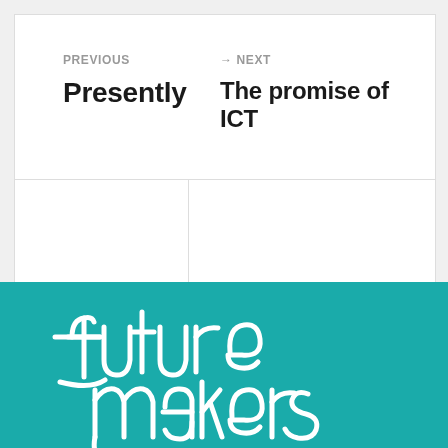PREVIOUS
Presently
→ NEXT
The promise of ICT
[Figure (logo): Future Makers handwritten logo in white on teal background]